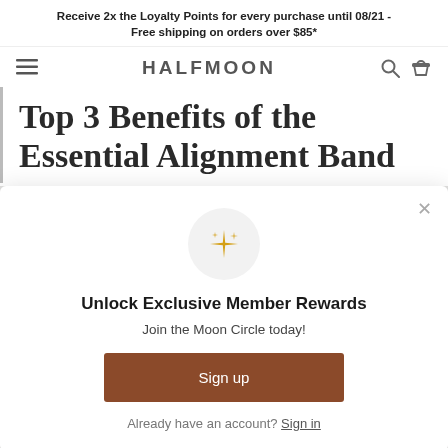Receive 2x the Loyalty Points for every purchase until 08/21 - Free shipping on orders over $85*
HALFMOON
Top 3 Benefits of the Essential Alignment Band
[Figure (screenshot): Popup modal overlay with sparkle icon, heading 'Unlock Exclusive Member Rewards', subtext 'Join the Moon Circle today!', a brown 'Sign up' button, and a 'Already have an account? Sign in' link with a close X button.]
*Free Shipping is only available within the continuous US